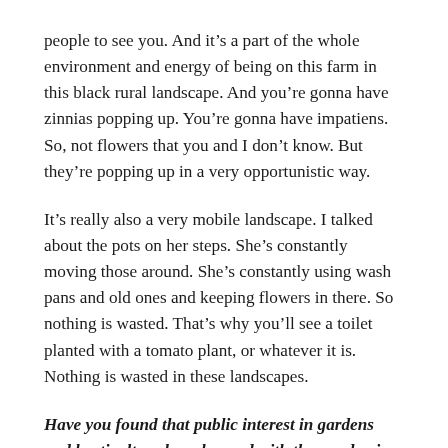people to see you. And it's a part of the whole environment and energy of being on this farm in this black rural landscape. And you're gonna have zinnias popping up. You're gonna have impatiens. So, not flowers that you and I don't know. But they're popping up in a very opportunistic way.
It's really also a very mobile landscape. I talked about the pots on her steps. She's constantly moving those around. She's constantly using wash pans and old ones and keeping flowers in there. So nothing is wasted. That's why you'll see a toilet planted with a tomato plant, or whatever it is. Nothing is wasted in these landscapes.
Have you found that public interest in gardens and horticulture has changed with the pandemic and lockdown?